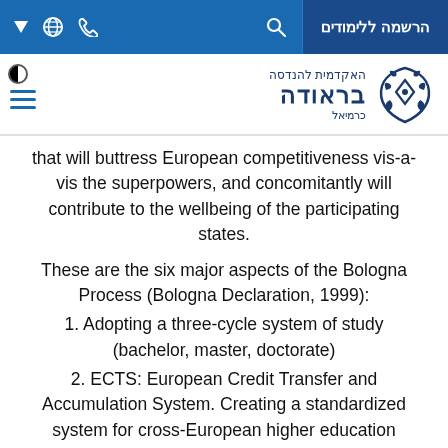הרשמה ללימודים
[Figure (logo): Braude Academic College of Engineering logo with Hebrew text האקדמית להנדסה בראודה כרמיאל]
that will buttress European competitiveness vis-a-vis the superpowers, and concomitantly will contribute to the wellbeing of the participating states.
These are the six major aspects of the Bologna Process (Bologna Declaration, 1999):
1. Adopting a three-cycle system of study (bachelor, master, doctorate)
2. ECTS: European Credit Transfer and Accumulation System. Creating a standardized system for cross-European higher education performance and attainment.